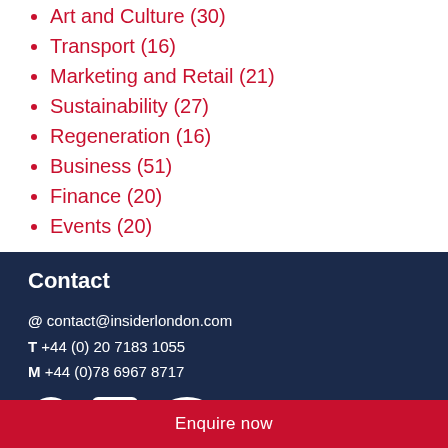Art and Culture (30)
Transport (16)
Marketing and Retail (21)
Sustainability (27)
Regeneration (16)
Business (51)
Finance (20)
Events (20)
Contact
@ contact@insiderlondon.com
T +44 (0) 20 7183 1055
M +44 (0)78 6967 8717
[Figure (other): Social media icons: Facebook, LinkedIn, TripAdvisor]
Enquire now